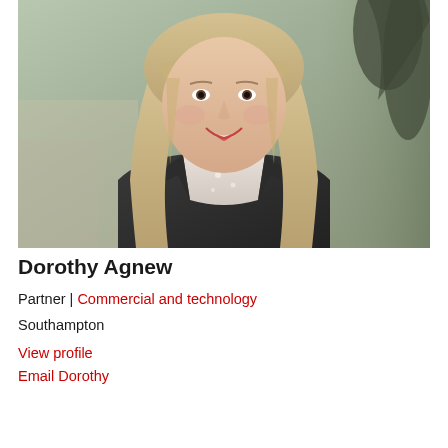[Figure (photo): Professional headshot of Dorothy Agnew, a woman with long blonde hair and bangs, smiling, wearing a light floral top and dark blazer, with a blurred outdoor/indoor background]
Dorothy Agnew
Partner | Commercial and technology
Southampton
View profile
Email Dorothy